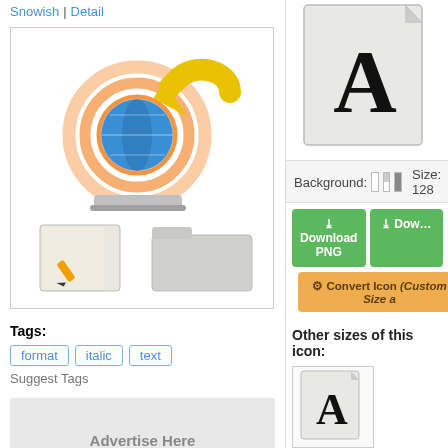Snowish | Detail
[Figure (screenshot): Icon preview box showing multiple icons: globe/network icon, yellow undo arrow, a pencil/file icon, and a folder icon]
Tags:
format
italic
text
Suggest Tags
Advertise Here
Advertise Here
Advertise Here
[Figure (illustration): Large font/text file icon with letter A on a document with folded corner]
Background:   Size: 128
Download PNG
Convert Icon (Custom Size a
Other sizes of this icon:
[Figure (illustration): Font icon 96x96 size showing letter A on document]
96 x 96
PNG  ICO
[Figure (illustration): Font icon 72x72 size showing letter A on document]
72 x 72
PNG  ICO